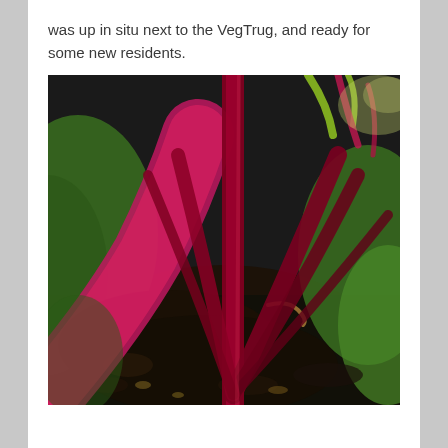was up in situ next to the VegTrug, and ready for some new residents.
[Figure (photo): Close-up photograph of a beetroot or chard plant growing in dark soil, showing vivid magenta/crimson stems and stalks radiating from the base, with green leaves visible in the background.]